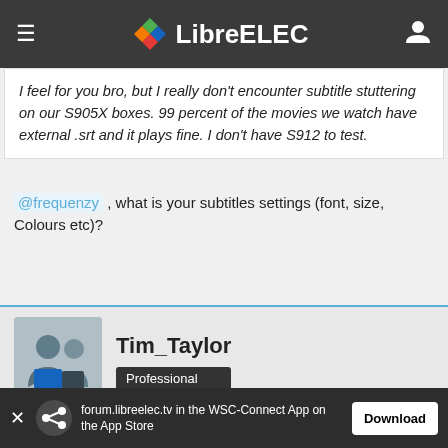LibreELEC
I feel for you bro, but I really don't encounter subtitle stuttering on our S905X boxes. 99 percent of the movies we watch have external .srt and it plays fine. I don't have S912 to test.
@frequenzy , what is your subtitles settings (font, size, Colours etc)?
Tim_Taylor
Professional
Jan 11th 2018
Quote from frequenzy